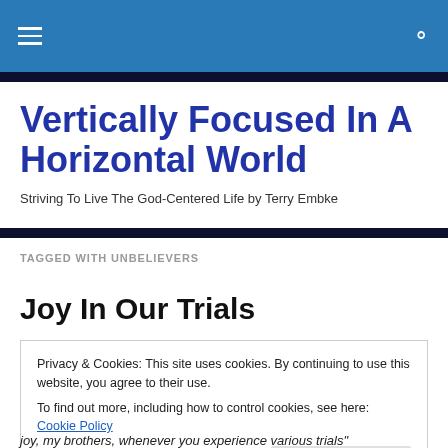Vertically Focused In A Horizontal World
Vertically Focused In A Horizontal World
Striving To Live The God-Centered Life by Terry Embke
TAGGED WITH UNBELIEVERS
Joy In Our Trials
Privacy & Cookies: This site uses cookies. By continuing to use this website, you agree to their use.
To find out more, including how to control cookies, see here: Cookie Policy
joy, my brothers, whenever you experience various trials"